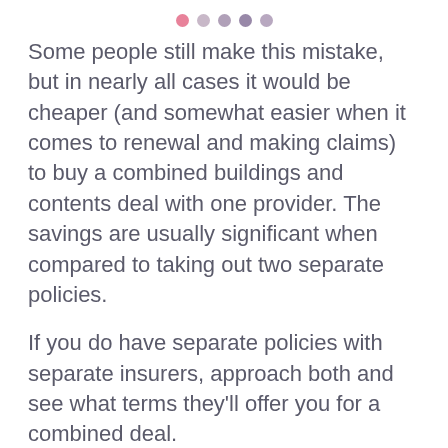● ● ● ● ●
Some people still make this mistake, but in nearly all cases it would be cheaper (and somewhat easier when it comes to renewal and making claims) to buy a combined buildings and contents deal with one provider. The savings are usually significant when compared to taking out two separate policies.
If you do have separate policies with separate insurers, approach both and see what terms they'll offer you for a combined deal.
UPGRADE YOUR LOCKS
[Figure (illustration): Decorative 3D hexagonal/cube tile pattern background in light gray and white]